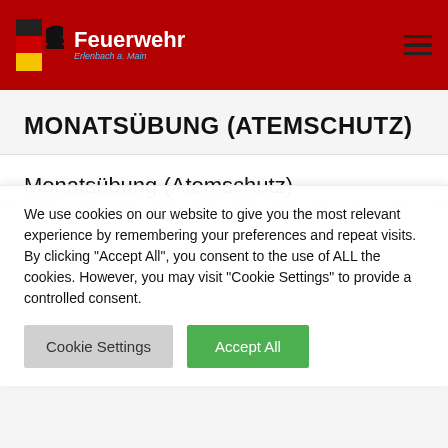[Figure (logo): Feuerwehr Erlenbach a. Main logo with German flag colors and firefighter emblem on red header bar]
MONATSÜBUNG (ATEMSCHUTZ)
Monatsübung (Atemschutz)
We use cookies on our website to give you the most relevant experience by remembering your preferences and repeat visits. By clicking "Accept All", you consent to the use of ALL the cookies. However, you may visit "Cookie Settings" to provide a controlled consent.
Cookie Settings | Accept All